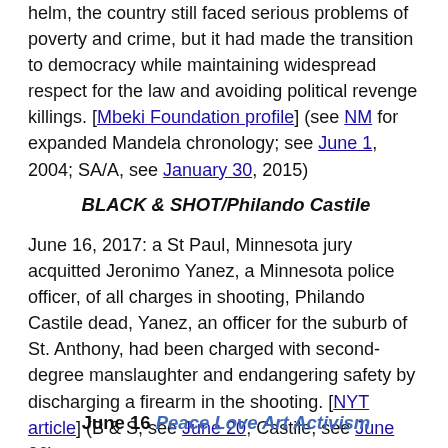helm, the country still faced serious problems of poverty and crime, but it had made the transition to democracy while maintaining widespread respect for the law and avoiding political revenge killings. [Mbeki Foundation profile] (see NM for expanded Mandela chronology; see June 1, 2004; SA/A, see January 30, 2015)
BLACK & SHOT/Philando Castile
June 16, 2017: a St Paul, Minnesota jury acquitted Jeronimo Yanez, a Minnesota police officer, of all charges in shooting, Philando Castile dead, Yanez, an officer for the suburb of St. Anthony, had been charged with second-degree manslaughter and endangering safety by discharging a firearm in the shooting. [NYT article] (B & S, see June 20; Castile, see June 26)
June 16 Peace Love Art Activism